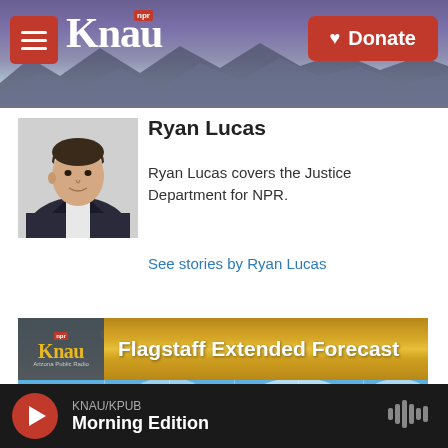KNAU NPR - Donate
Ryan Lucas
[Figure (photo): Headshot photo of Ryan Lucas, a young man in a dark suit jacket with light shirt, light background]
Ryan Lucas covers the Justice Department for NPR.
See stories by Ryan Lucas
[Figure (screenshot): Flagstaff Extended Forecast weather widget showing KNAU logo and days Wed, Thu, Fri, Sat, Sun with weather icons]
KNAU/KPUB Morning Edition